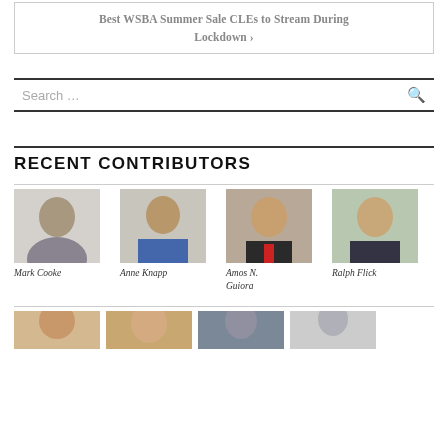Best WSBA Summer Sale CLEs to Stream During Lockdown >
RECENT CONTRIBUTORS
[Figure (photo): Headshot of Mark Cooke]
Mark Cooke
[Figure (photo): Headshot of Anne Knapp]
Anne Knapp
[Figure (photo): Headshot of Amos N. Guiora]
Amos N. Guiora
[Figure (photo): Headshot of Ralph Flick]
Ralph Flick
[Figure (photo): Partial headshots of four more contributors (row 2, cropped at bottom)]